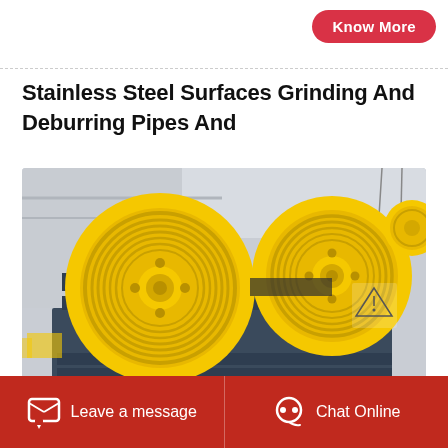Know More
Stainless Steel Surfaces Grinding And Deburring Pipes And
[Figure (photo): Industrial grinding and deburring machine with large yellow pulleys/wheels on a dark blue/grey metal frame, photographed inside a factory warehouse.]
Leave a message
Chat Online